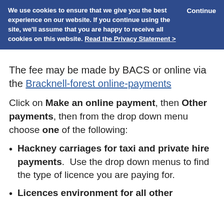We use cookies to ensure that we give you the best experience on our website. If you continue using the site, we'll assume that you are happy to receive all cookies on this website. Read the Privacy Statement >   Continue
The fee may be made by BACS or online via the Bracknell-forest online-payments
Click on Make an online payment, then Other payments, then from the drop down menu choose one of the following:
Hackney carriages for taxi and private hire payments.  Use the drop down menus to find the type of licence you are paying for.
Licences environment for all other